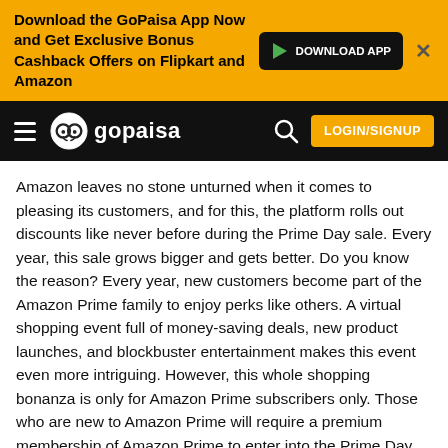[Figure (screenshot): GoPaisa app download banner with orange background, Google Play download button, and close button]
[Figure (screenshot): GoPaisa website navigation bar with hamburger menu, GoPaisa logo, search icon, and LOGIN/SIGNUP button]
Amazon leaves no stone unturned when it comes to pleasing its customers, and for this, the platform rolls out discounts like never before during the Prime Day sale. Every year, this sale grows bigger and gets better. Do you know the reason? Every year, new customers become part of the Amazon Prime family to enjoy perks like others. A virtual shopping event full of money-saving deals, new product launches, and blockbuster entertainment makes this event even more intriguing. However, this whole shopping bonanza is only for Amazon Prime subscribers only. Those who are new to Amazon Prime will require a premium membership of Amazon Prime to enter into the Prime Day sale. You can activate your Amazon Prime membership by spending Rs.179 for a month, Rs.459 for 3-months or Rs.1,499 for a whole year.
How to activate Amazon Prime subscription?
Activating Amazon Prime membership is quite simple and easy.